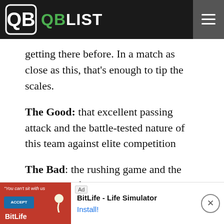QB LIST
getting there before. In a match as close as this, that’s enough to tip the scales.
The Good: that excellent passing attack and the battle-tested nature of this team against elite competition
The Bad: the rushing game and the non-elite defense
Blueprint: 2007 Colts; like Buffalo, the Colts had an excellent passing attack and a subpar rush... Its were... against
[Figure (screenshot): Advertisement overlay: BitLife - Life Simulator app ad with red background and install button]